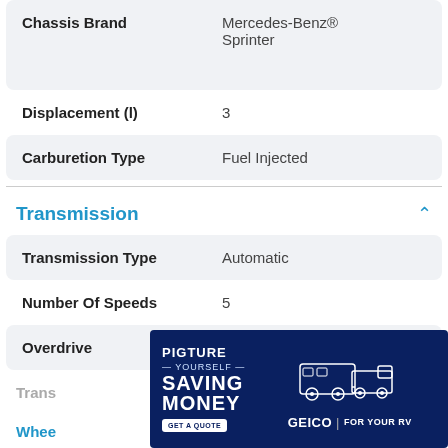| Attribute | Value |
| --- | --- |
| Chassis Brand | Mercedes-Benz® Sprinter |
| Displacement (l) | 3 |
| Carburetion Type | Fuel Injected |
Transmission
| Attribute | Value |
| --- | --- |
| Transmission Type | Automatic |
| Number Of Speeds | 5 |
| Overdrive | Yes |
[Figure (other): GEICO advertisement: 'Picture Yourself Saving Money' with RV and truck illustration, GET A QUOTE button, GEICO FOR YOUR RV branding]
Trans…
Whee…